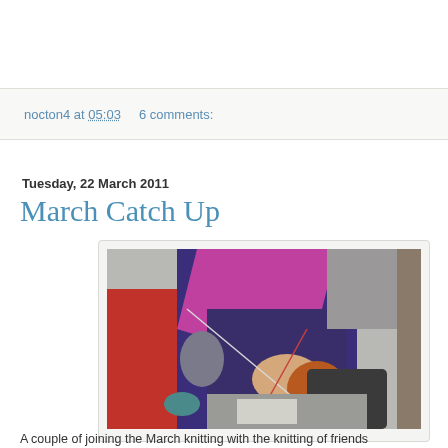nocton4 at 05:03    6 comments:
Tuesday, 22 March 2011
March Catch Up
[Figure (photo): Photo of people knitting outdoors, one person in red coat and another in purple jacket with pink/magenta shawl, knitting with needles and orange yarn]
A couple of knitting with the knitting of friends